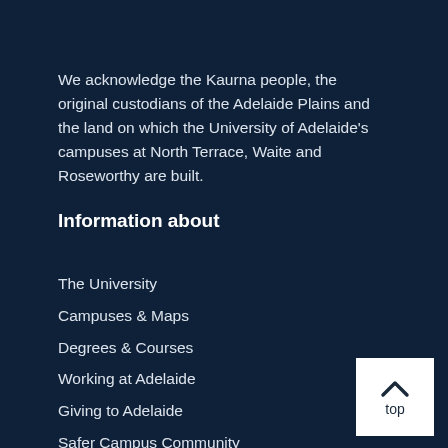We acknowledge the Kaurna people, the original custodians of the Adelaide Plains and the land on which the University of Adelaide's campuses at North Terrace, Waite and Roseworthy are built.
Information about
The University
Campuses & Maps
Degrees & Courses
Working at Adelaide
Giving to Adelaide
Safer Campus Community
University Contacts